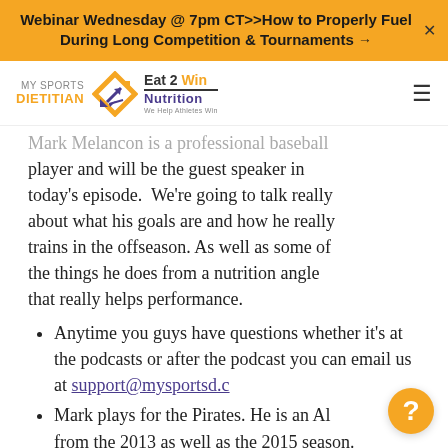Webinar Wednesday @ 7pm CT>>How to Properly Fuel During Long Competition & Tournaments →
[Figure (logo): My Sports Dietitian / Eat 2 Win Nutrition logo with diamond arrow graphic and tagline 'We Help Athletes Win']
Mark Melancon is a professional baseball player and will be the guest speaker in today's episode. We're going to talk really about what his goals are and how he really trains in the offseason. As well as some of the things he does from a nutrition angle that really helps performance.
Anytime you guys have questions whether it's at the podcasts or after the podcast you can email us at support@mysportsd.c
Mark plays for the Pirates. He is an Al from the 2013 as well as the 2015 season.